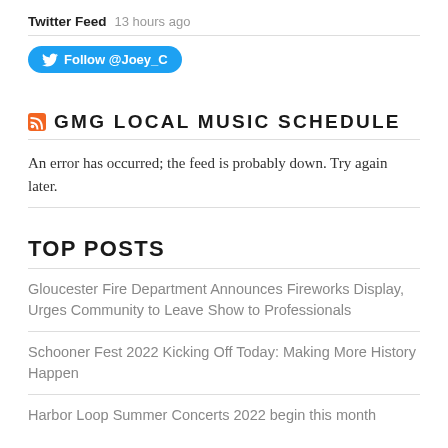Twitter Feed 13 hours ago
[Figure (other): Blue Twitter Follow button with bird icon: Follow @Joey_C]
GMG LOCAL MUSIC SCHEDULE
An error has occurred; the feed is probably down. Try again later.
TOP POSTS
Gloucester Fire Department Announces Fireworks Display, Urges Community to Leave Show to Professionals
Schooner Fest 2022 Kicking Off Today: Making More History Happen
Harbor Loop Summer Concerts 2022 begin this month